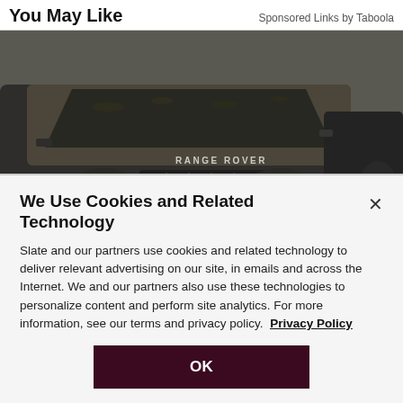You May Like
Sponsored Links by Taboola
[Figure (photo): A dirty, dust-covered Range Rover SUV parked next to another dark SUV, shown from a front three-quarter angle. The Range Rover badge is visible on the hood. Both vehicles appear heavily soiled.]
We Use Cookies and Related Technology
Slate and our partners use cookies and related technology to deliver relevant advertising on our site, in emails and across the Internet. We and our partners also use these technologies to personalize content and perform site analytics. For more information, see our terms and privacy policy.  Privacy Policy
OK